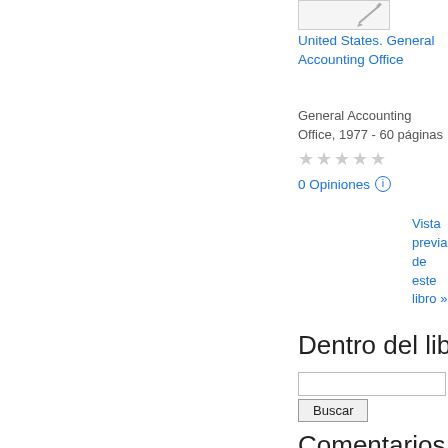[Figure (illustration): Book cover thumbnail, partially visible, top-right area]
United States. General Accounting Office
General Accounting Office, 1977 - 60 páginas
★★★★★
0 Opiniones ⓘ
Vista previa de este libro »
Dentro del libro
Comentarios de